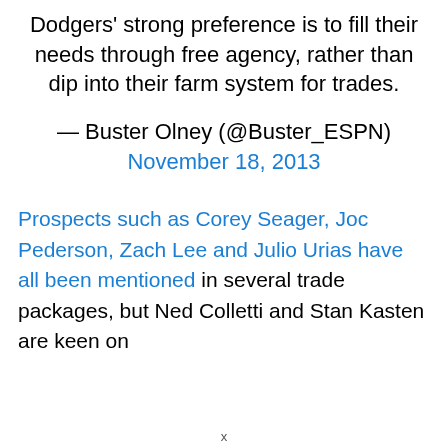Dodgers' strong preference is to fill their needs through free agency, rather than dip into their farm system for trades.
— Buster Olney (@Buster_ESPN) November 18, 2013
Prospects such as Corey Seager, Joc Pederson, Zach Lee and Julio Urias have all been mentioned in several trade packages, but Ned Colletti and Stan Kasten are keen on
x